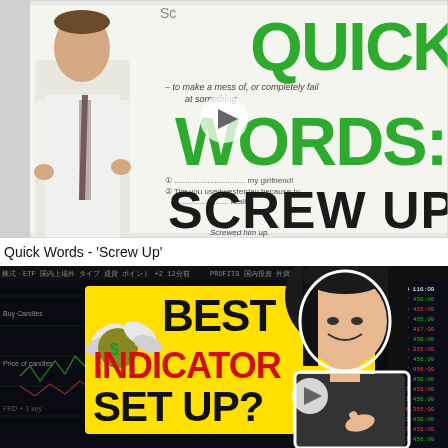[Figure (screenshot): YouTube video thumbnail showing a man in a white shirt and tie standing in front of a whiteboard. The whiteboard displays 'QUICK WORDS: SCREW UP' in large green and dark text, with definitions and example sentences written in smaller text. A play button icon is visible in the center.]
Quick Words - 'Screw Up'
[Figure (screenshot): YouTube video thumbnail showing a young Asian woman smiling, standing next to a yellow banner with bold text reading 'BEST INDICATOR SET UP?' in black and red letters, with a flying money emoji. A stock trading chart is visible in the background. A play button icon is visible.]